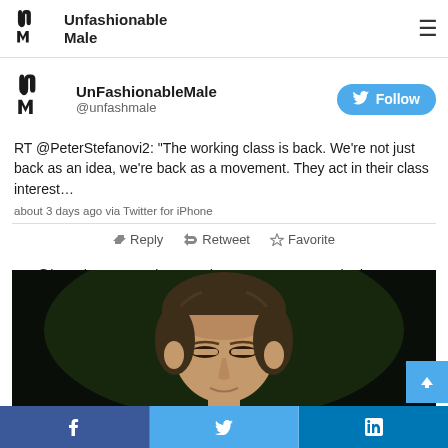Unfashionable Male
UnFashionableMale @unfashmale
RT @PeterStefanovi2: “The working class is back. We’re not just back as an idea, we’re back as a movement. They act in their class interest…
about 3 days ago via Twitter for iPhone
Reply  Retweet  Favorite
RT @jasonbaum: Frank Zappa in 1986. He was mocked. So prescient. #ToxicCapitalism #VoteBlueToSaveDemocracy
[Figure (photo): Video thumbnail showing a man with dark hair against a dark background, appears to be a screenshot of a video of Frank Zappa in 1986.]
Facebook  Twitter  LinkedIn share buttons